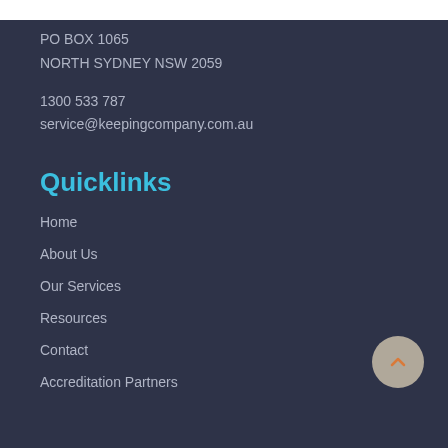PO BOX 1065
NORTH SYDNEY NSW 2059
1300 533 787
service@keepingcompany.com.au
Quicklinks
Home
About Us
Our Services
Resources
Contact
Accreditation Partners